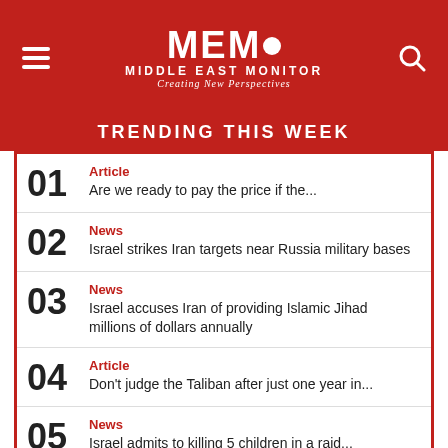MEMO MIDDLE EAST MONITOR Creating New Perspectives
TRENDING THIS WEEK
Article
Are we ready to pay the price if the...
News
Israel strikes Iran targets near Russia military bases
News
Israel accuses Iran of providing Islamic Jihad millions of dollars annually
Article
Don't judge the Taliban after just one year in...
News
Israel admits to killing 5 children in a raid...